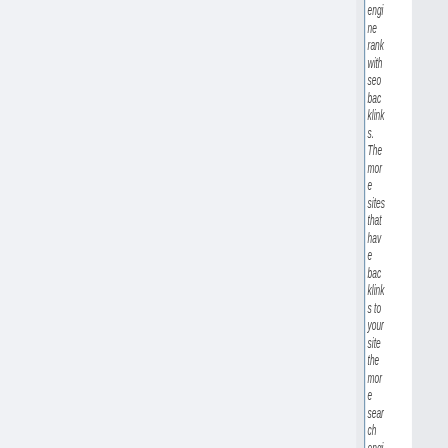engine rank with seo backlinks. The more sites that have backlinks to your site the more search engines rate your web